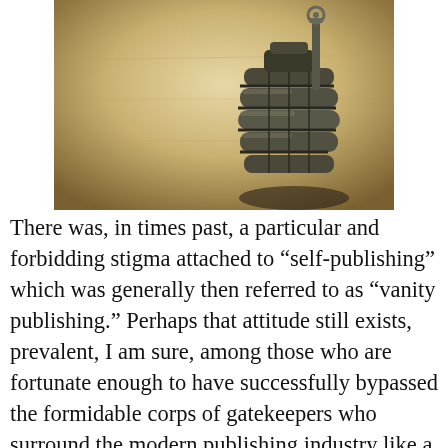[Figure (photo): Close-up photograph of a hand grenade (pineapple-style, dark metallic) standing upright on a light wooden surface, photographed from a low angle against a warm beige background. The grenade's segmented body and pull ring/lever are visible.]
There was, in times past, a particular and forbidding stigma attached to “self-publishing” which was generally then referred to as “vanity publishing.” Perhaps that attitude still exists, prevalent, I am sure, among those who are fortunate enough to have successfully bypassed the formidable corps of gatekeepers who surround the modern publishing industry like a moat defending the castle keep, which may sound like a...